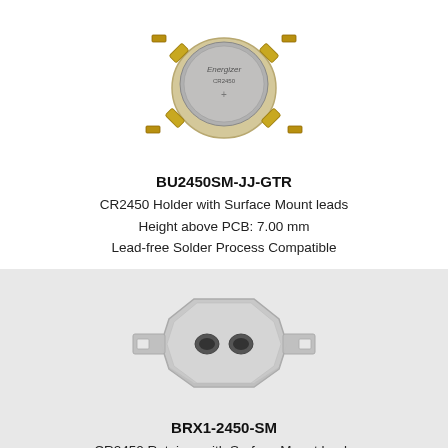[Figure (photo): Photo of BU2450SM-JJ-GTR: CR2450 coin cell battery holder with surface mount leads and gold-colored metal clips, with an Energizer CR2450 battery inserted.]
BU2450SM-JJ-GTR
CR2450 Holder with Surface Mount leads
Height above PCB: 7.00 mm
Lead-free Solder Process Compatible
[Figure (photo): Photo of BRX1-2450-SM: CR2450 coin cell battery retainer with surface mount leads, silver metallic housing with two slots/holes visible from top.]
BRX1-2450-SM
CR2450 Retainer with Surface Mount leads
Also Accepts: BR2450
Height above PCB: 5.90 mm
Lead-free Solder Process Compatible